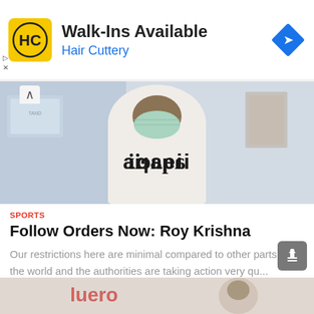[Figure (other): Hair Cuttery advertisement banner with yellow HC logo, 'Walk-Ins Available' headline, 'Hair Cuttery' subtitle in blue, and blue navigation diamond icon]
[Figure (photo): Person wearing a white t-shirt with black graphic text and a light blue/green face mask, standing in front of a store interior]
SPORTS
Follow Orders Now: Roy Krishna
Our restrictions here are minimal compared to other parts of the world and the authorities are taking action very qu...
by Waisea Nasokia
[Figure (photo): Partial bottom strip showing another article image]